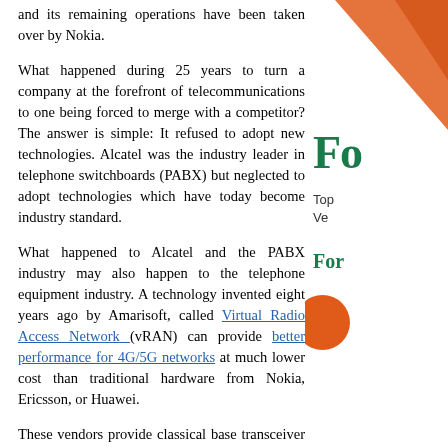and its remaining operations have been taken over by Nokia.
What happened during 25 years to turn a company at the forefront of telecommunications to one being forced to merge with a competitor? The answer is simple: It refused to adopt new technologies. Alcatel was the industry leader in telephone switchboards (PABX) but neglected to adopt technologies which have today become industry standard.
What happened to Alcatel and the PABX industry may also happen to the telephone equipment industry. A technology invented eight years ago by Amarisoft, called Virtual Radio Access Network (vRAN) can provide better performance for 4G/5G networks at much lower cost than traditional hardware from Nokia, Ericsson, or Huawei.
These vendors provide classical base transceiver stations (BTS) which require their dedicated hardware for handling radio signal baseband computing and